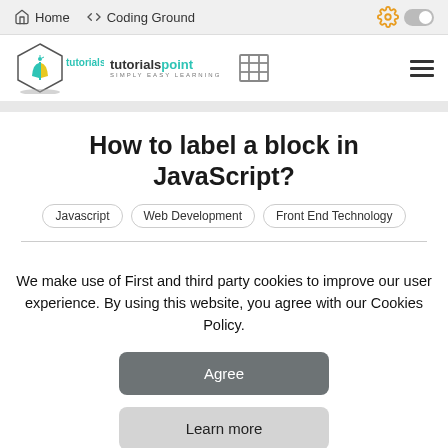Home  </> Coding Ground
[Figure (logo): Tutorialspoint logo — diamond shape with book icon, text 'tutorialspoint SIMPLY EASY LEARNING']
How to label a block in JavaScript?
Javascript
Web Development
Front End Technology
We make use of First and third party cookies to improve our user experience. By using this website, you agree with our Cookies Policy.
Agree
Learn more